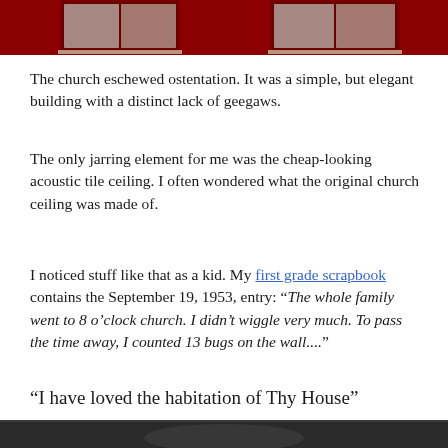[Figure (photo): Top portion of a photo showing red-painted church exterior with windows, cropped at top of page]
The church eschewed ostentation. It was a simple, but elegant building with a distinct lack of geegaws.
The only jarring element for me was the cheap-looking acoustic tile ceiling. I often wondered what the original church ceiling was made of.
I noticed stuff like that as a kid. My first grade scrapbook contains the September 19, 1953, entry: “The whole family went to 8 o’clock church. I didn’t wiggle very much. To pass the time away, I counted 13 bugs on the wall....”
“I have loved the habitation of Thy House”
[Figure (photo): Bottom portion of a photo, partially visible at the bottom of the page, dark tones]